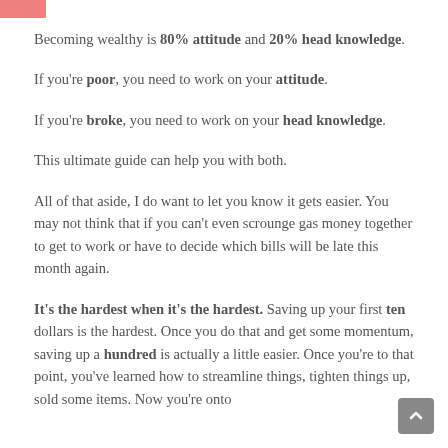Becoming wealthy is 80% attitude and 20% head knowledge.
If you're poor, you need to work on your attitude.
If you're broke, you need to work on your head knowledge.
This ultimate guide can help you with both.
All of that aside, I do want to let you know it gets easier. You may not think that if you can't even scrounge gas money together to get to work or have to decide which bills will be late this month again.
It's the hardest when it's the hardest. Saving up your first ten dollars is the hardest. Once you do that and get some momentum, saving up a hundred is actually a little easier. Once you're to that point, you've learned how to streamline things, tighten things up, sold some items. Now you're onto